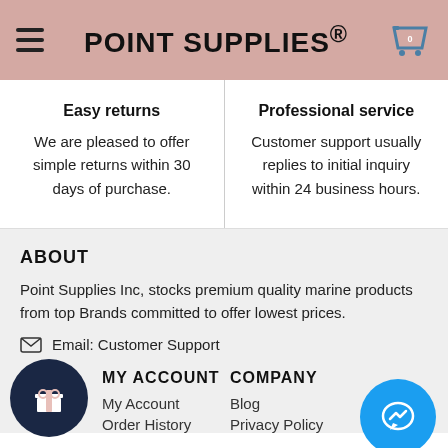POINT SUPPLIES®
Easy returns
We are pleased to offer simple returns within 30 days of purchase.
Professional service
Customer support usually replies to initial inquiry within 24 business hours.
ABOUT
Point Supplies Inc, stocks premium quality marine products from top Brands committed to offer lowest prices.
Email: Customer Support
MY ACCOUNT
My Account
Order History
COMPANY
Blog
Privacy Policy